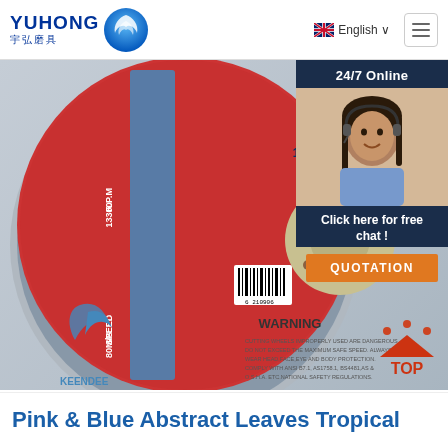[Figure (logo): Yuhong 宇弘磨具 logo with blue wave/flame icon]
English ∨
[Figure (photo): Cutting disc / grinding wheel product photo. Red and grey disc labeled KEENDEE, T41 A46SBF, 115x1.6x22.2mm, R.P.M 13300, SPEED 80M/S, WARNING text visible. ISO 9001 badge shown.]
[Figure (photo): 24/7 Online chat popup with woman wearing headset, 'Click here for free chat!' text, and orange QUOTATION button]
[Figure (illustration): Red TOP badge with orange dots above letters]
Pink & Blue Abstract Leaves Tropical